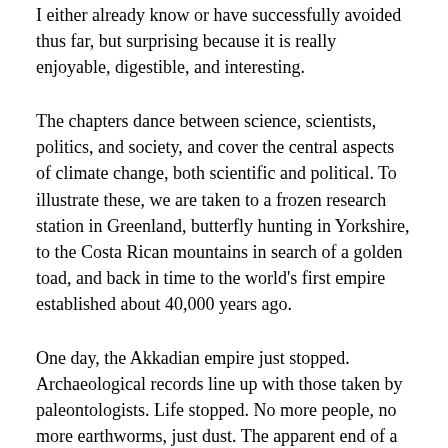I either already know or have successfully avoided thus far, but surprising because it is really enjoyable, digestible, and interesting.
The chapters dance between science, scientists, politics, and society, and cover the central aspects of climate change, both scientific and political. To illustrate these, we are taken to a frozen research station in Greenland, butterfly hunting in Yorkshire, to the Costa Rican mountains in search of a golden toad, and back in time to the world's first empire established about 40,000 years ago.
One day, the Akkadian empire just stopped. Archaeological records line up with those taken by paleontologists. Life stopped. No more people, no more earthworms, just dust. The apparent end of a civilisation due to climate. (This isn't a rare event,- there is an excellent book devoted to this by Brian M Fagan called The Long Summer, How Climate Changed Civilisation.)
We are not only taken on journeys into recent academic